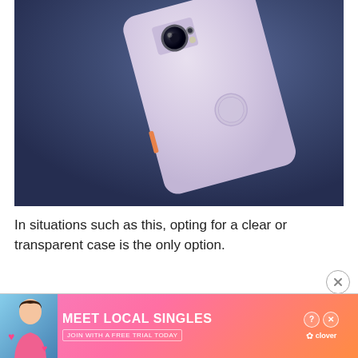[Figure (photo): A Google Pixel smartphone shown from the back, in a light purple/lavender color, floating against a dark blue/grey background. The rear camera and fingerprint sensor are visible.]
In situations such as this, opting for a clear or transparent case is the only option.
[Figure (other): Advertisement banner: 'MEET LOCAL SINGLES - JOIN WITH A FREE TRIAL TODAY' with Clover dating app logo, pink/orange gradient background, and a woman's photo on the left.]